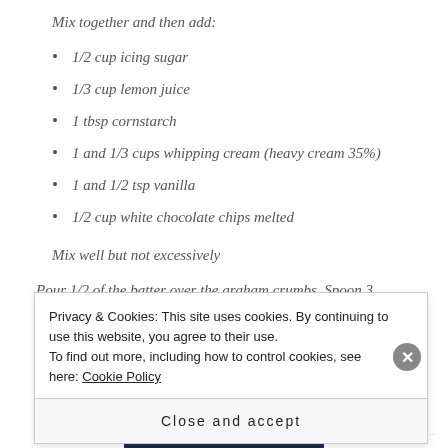Mix together and then add:
1/2 cup icing sugar
1/3 cup lemon juice
1 tbsp cornstarch
1 and 1/3 cups whipping cream (heavy cream 35%)
1 and 1/2 tsp vanilla
1/2 cup white chocolate chips melted
Mix well but not excessively
Pour 1/2 of the batter over the graham crumbs. Spoon 3
Privacy & Cookies: This site uses cookies. By continuing to use this website, you agree to their use.
To find out more, including how to control cookies, see here: Cookie Policy
Close and accept